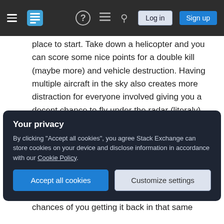Stack Exchange navigation bar with hamburger menu, logo, help icon, chat icon, search icon, Log in and Sign up buttons
place to start. Take down a helicopter and you can score some nice points for a double kill (maybe more) and vehicle destruction. Having multiple aircraft in the sky also creates more distraction for everyone involved giving you a decent chance to fly under the radar (literaly).
2. Play with some friends: Having a good squadmate or two can really turn the airfield in your favor. Spotting jets and helicopters makes a massive difference early in the game for jet pilots. Until you have the radar on your jet you
Your privacy
By clicking "Accept all cookies", you agree Stack Exchange can store cookies on your device and disclose information in accordance with our Cookie Policy.
Accept all cookies  Customize settings
chances of you getting it back in that same